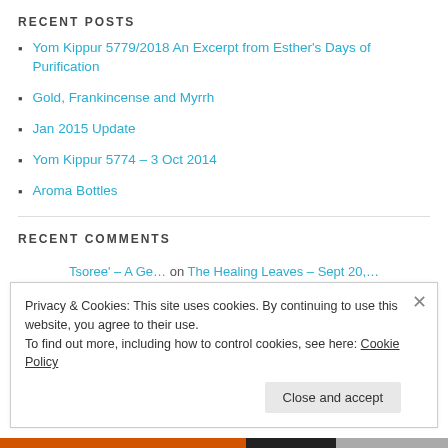RECENT POSTS
Yom Kippur 5779/2018 An Excerpt from Esther's Days of Purification
Gold, Frankincense and Myrrh
Jan 2015 Update
Yom Kippur 5774 – 3 Oct 2014
Aroma Bottles
RECENT COMMENTS
Tsoree' – A Ge… on The Healing Leaves – Sept 20,…
Privacy & Cookies: This site uses cookies. By continuing to use this website, you agree to their use. To find out more, including how to control cookies, see here: Cookie Policy
Close and accept